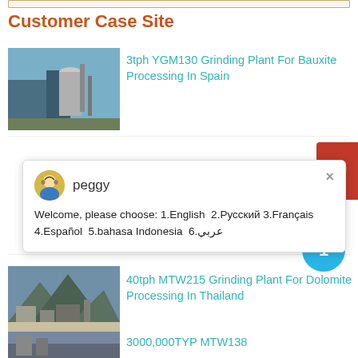Customer Case Site
[Figure (photo): Industrial grinding plant equipment photo for 3tph YGM130 Bauxite Processing in Spain]
3tph YGM130 Grinding Plant For Bauxite Processing In Spain
[Figure (screenshot): Chat popup from peggy: Welcome, please choose: 1.English 2.Русский 3.Français 4.Español 5.bahasa Indonesia 6.عربي]
[Figure (photo): Industrial grinding plant exterior photo for 40tph MTW215 Dolomite Processing in Thailand]
40tph MTW215 Grinding Plant For Dolomite Processing In Thailand
3000,000TYP MTW138